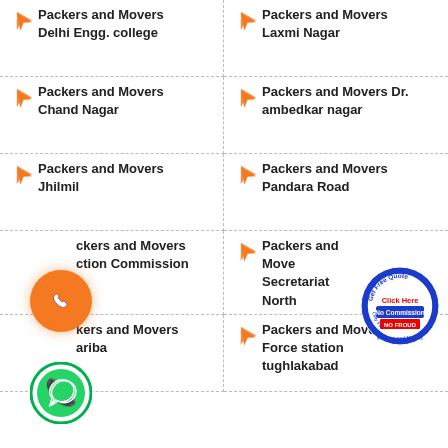Packers and Movers Delhi Engg. college
Packers and Movers Laxmi Nagar
Packers and Movers Chand Nagar
Packers and Movers Dr. ambedkar nagar
Packers and Movers Jhilmil
Packers and Movers Pandara Road
Packers and Movers Election Commission
Packers and Movers Secretariat North
Packers and Movers Sahibariba
Packers and Movers Air Force station tughlakabad
[Figure (illustration): Orange phone call button (circle with phone handset icon)]
[Figure (illustration): WhatsApp green circle logo button]
[Figure (illustration): Get Free Quote badge - Click Here, No Commission, NO FRAUD, Only For Packers and Movers]